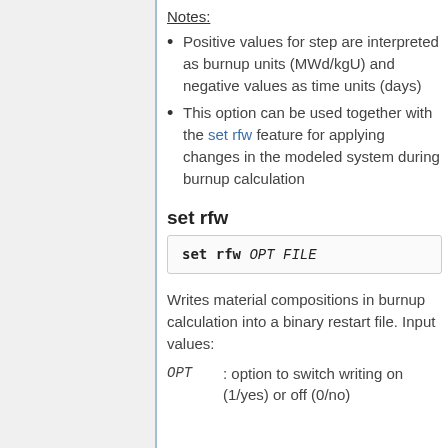Notes:
Positive values for step are interpreted as burnup units (MWd/kgU) and negative values as time units (days)
This option can be used together with the set rfw feature for applying changes in the modeled system during burnup calculation
set rfw
set rfw OPT FILE
Writes material compositions in burnup calculation into a binary restart file. Input values:
OPT : option to switch writing on (1/yes) or off (0/no)